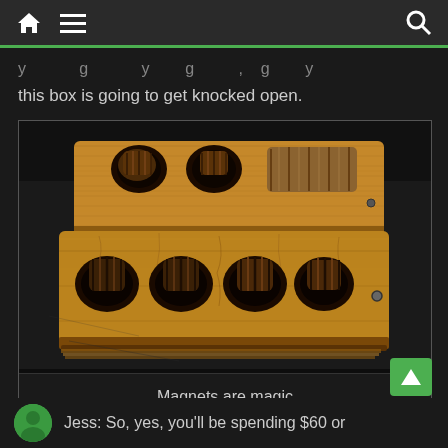[home icon] [menu icon] [search icon]
...this box is going to get knocked open.
[Figure (photo): Close-up photo of a wooden box or game board with circular indentations holding dark wooden pieces/magnets, photographed on a dark surface. Two rectangular wooden pieces with visible wood grain are shown.]
Magnets are magic
Jess: So, yes, you'll be spending $60 or